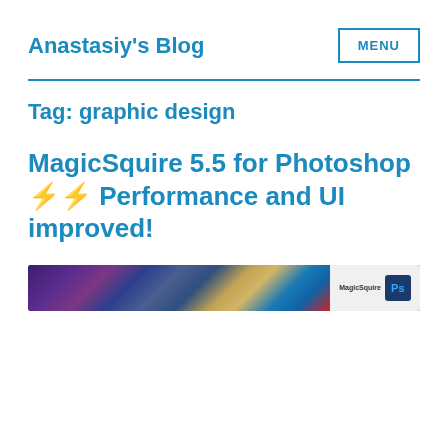Anastasiy's Blog
Tag: graphic design
MagicSquire 5.5 for Photoshop ⚡⚡ Performance and UI improved!
[Figure (screenshot): Preview image of MagicSquire plugin for Photoshop, showing a colorful panel with MagicSquire label and Photoshop logo badge]